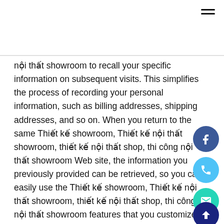nội thất showroom to recall your specific information on subsequent visits. This simplifies the process of recording your personal information, such as billing addresses, shipping addresses, and so on. When you return to the same Thiết kế showroom, Thiết kế nội thất showroom, thiết kế nội thất shop, thi công nội thất showroom Web site, the information you previously provided can be retrieved, so you can easily use the Thiết kế showroom, Thiết kế nội thất showroom, thiết kế nội thất shop, thi công nội thất showroom features that you customized.

You have the ability to accept or decline cookies.